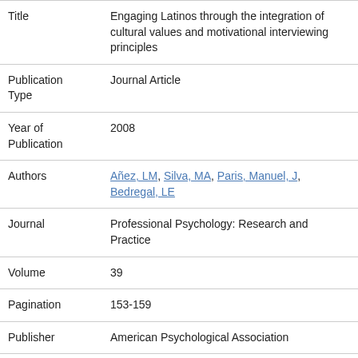| Field | Value |
| --- | --- |
| Title | Engaging Latinos through the integration of cultural values and motivational interviewing principles |
| Publication Type | Journal Article |
| Year of Publication | 2008 |
| Authors | Añez, LM, Silva, MA, Paris, Manuel, J, Bedregal, LE |
| Journal | Professional Psychology: Research and Practice |
| Volume | 39 |
| Pagination | 153-159 |
| Publisher | American Psychological Association |
| Place Published | US |
| Publication |  |